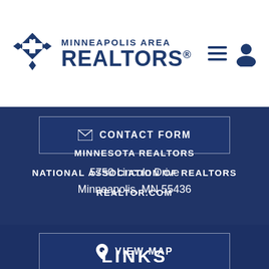[Figure (logo): Minneapolis Area REALTORS logo with diamond/cross emblem and text]
CONTACT FORM
5750 Lincoln Drive
Minneapolis, MN 55436
VIEW MAP
MINNESOTA REALTORS
NATIONAL ASSOCIATION OF REALTORS
REALTOR.COM
LINKS